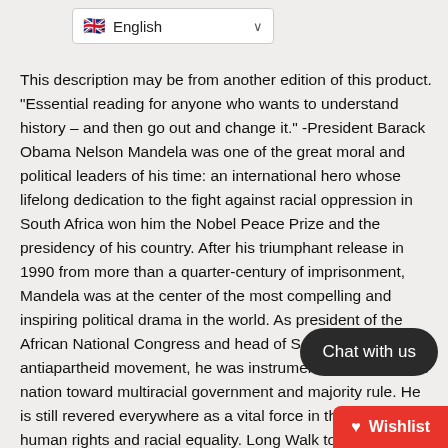[Figure (screenshot): Language selector dropdown showing UK flag and 'English' text with chevron]
This description may be from another edition of this product. "Essential reading for anyone who wants to understand history – and then go out and change it." -President Barack Obama Nelson Mandela was one of the great moral and political leaders of his time: an international hero whose lifelong dedication to the fight against racial oppression in South Africa won him the Nobel Peace Prize and the presidency of his country. After his triumphant release in 1990 from more than a quarter-century of imprisonment, Mandela was at the center of the most compelling and inspiring political drama in the world. As president of the African National Congress and head of South Africa's antiapartheid movement, he was instrumental in moving the nation toward multiracial government and majority rule. He is still revered everywhere as a vital force in the fight for human rights and racial equality. Long Walk to Freedom is his moving and exhilarating autobiography, destined to take its place among the finest memoirs of history's greatest figures. Here, in his own words, Nelson Rolihlahla Mandela told the extraordinary story of his life -- an epic of struggle, setback, renewed hope, and final triumph. The book that inspired the major motion
[Figure (screenshot): Dark rounded 'Chat with us' button overlay]
[Figure (screenshot): Red 'Wishlist' button with heart icon in bottom right corner]